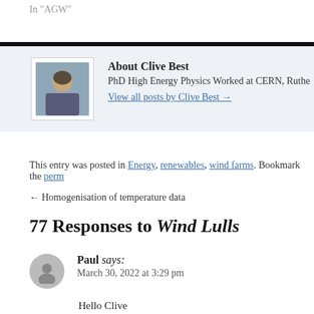In "AGW"
About Clive Best
PhD High Energy Physics Worked at CERN, Ruthe
View all posts by Clive Best →
This entry was posted in Energy, renewables, wind farms. Bookmark the perm
← Homogenisation of temperature data
77 Responses to Wind Lulls
Paul says:
March 30, 2022 at 3:29 pm
Hello Clive